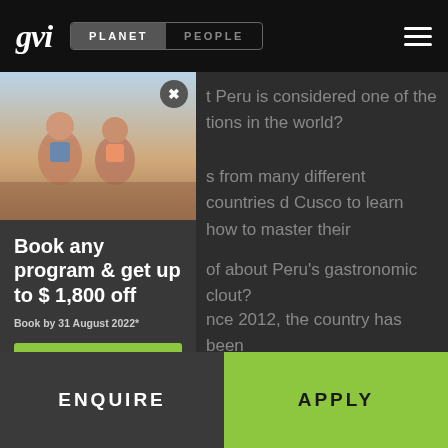gvi | PLANET | PEOPLE
t Peru is considered one of the tions in the world?
s from many different countries d Cusco to learn how to master their
[Figure (photo): Two people sitting outdoors, partial view behind popup overlay]
Book any program & get up to $ 1,800 off
Book by 31 August 2022*
Apply >
of about Peru's gastronomic clout?
nce 2012, the country has been ld's Leading Culinary Destination avel Awards.
ENQUIRE
APPLY